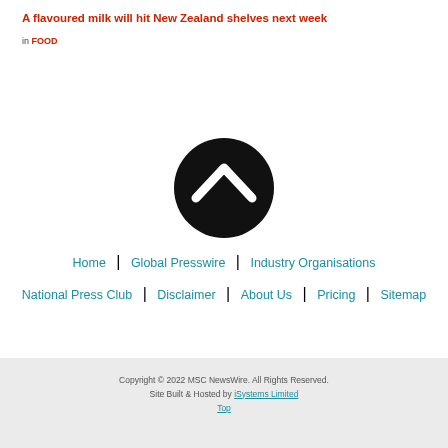A flavoured milk will hit New Zealand shelves next week
in FOOD
[Figure (illustration): Black circular button with white upward-pointing chevron arrow (scroll to top icon)]
Home | Global Presswire | Industry Organisations | National Press Club | Disclaimer | About Us | Pricing | Sitemap
Copyright © 2022 MSC NewsWire. All Rights Reserved. Site Built & Hosted by iSystems Limited Top